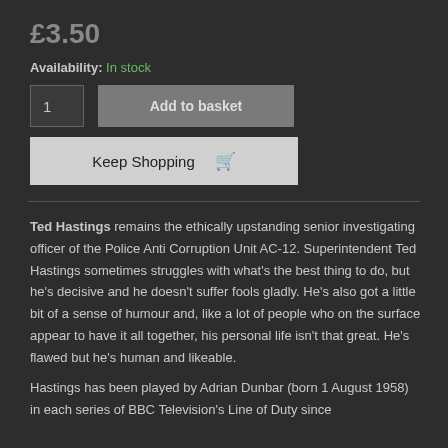£3.50
Availability: In stock
1 | Add to basket
Keep Shopping 🛒
Ted Hastings remains the ethically upstanding senior investigating officer of the Police Anti Corruption Unit AC-12. Superintendent Ted Hastings sometimes struggles with what's the best thing to do, but he's decisive and he doesn't suffer fools gladly. He's also got a little bit of a sense of humour and, like a lot of people who on the surface appear to have it all together, his personal life isn't that great. He's flawed but he's human and likeable.
Hastings has been played by Adrian Dunbar (born 1 August 1958) in each series of BBC Television's Line of Duty since 2012. He is a Northern Irish actor from Enniskillen, County ...